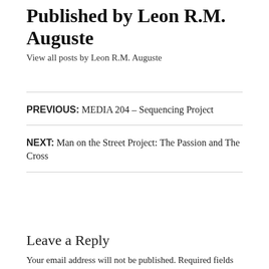Published by Leon R.M. Auguste
View all posts by Leon R.M. Auguste
PREVIOUS: MEDIA 204 – Sequencing Project
NEXT: Man on the Street Project: The Passion and The Cross
Leave a Reply
Your email address will not be published. Required fields are